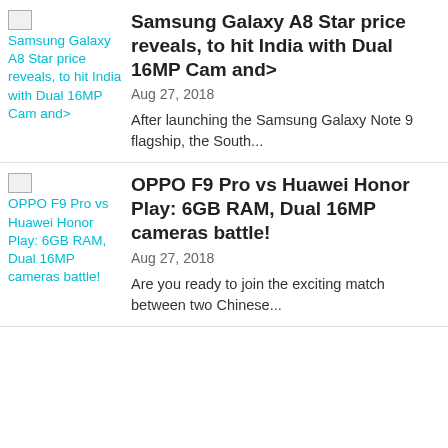[Figure (illustration): Thumbnail image placeholder for Samsung Galaxy A8 Star article]
Samsung Galaxy A8 Star price reveals, to hit India with Dual 16MP Cam and>
Aug 27, 2018
After launching the Samsung Galaxy Note 9 flagship, the South...
[Figure (illustration): Thumbnail image placeholder for OPPO F9 Pro vs Huawei Honor Play article]
OPPO F9 Pro vs Huawei Honor Play: 6GB RAM, Dual 16MP cameras battle!
Aug 27, 2018
Are you ready to join the exciting match between two Chinese...